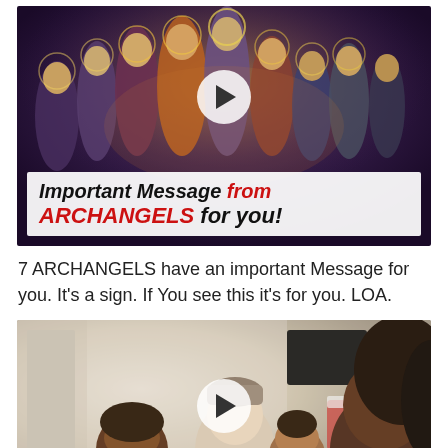[Figure (photo): Video thumbnail showing a religious painting of 7 archangels with a play button overlay and text 'Important Message from ARCHANGELS for you!']
7 ARCHANGELS have an important Message for you. It's a sign. If You see this it's for you. LOA.
[Figure (photo): Video thumbnail showing a family scene with a man, woman, and two young children, with a play button overlay, appearing to be at home during Christmas time.]